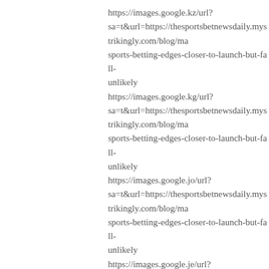https://images.google.kz/url?
sa=t&url=https://thesportsbetnewsdaily.mystrikingly.com/blog/ma
sports-betting-edges-closer-to-launch-but-fall-
unlikely
https://images.google.kg/url?
sa=t&url=https://thesportsbetnewsdaily.mystrikingly.com/blog/ma
sports-betting-edges-closer-to-launch-but-fall-
unlikely
https://images.google.jo/url?
sa=t&url=https://thesportsbetnewsdaily.mystrikingly.com/blog/ma
sports-betting-edges-closer-to-launch-but-fall-
unlikely
https://images.google.je/url?
sa=t&url=https://thesportsbetnewsdaily.mystrikingly.com/blog/ma
sports-betting-edges-closer-to-launch-but-fall-
unlikely
https://images.google.it/url?
sa=t&url=https://thesportsbetnewsdaily.mystrikingly.com/blog/ma
sports-betting-edges-closer-to-launch-but-fall-
unlikely
https://images.google.is/url?